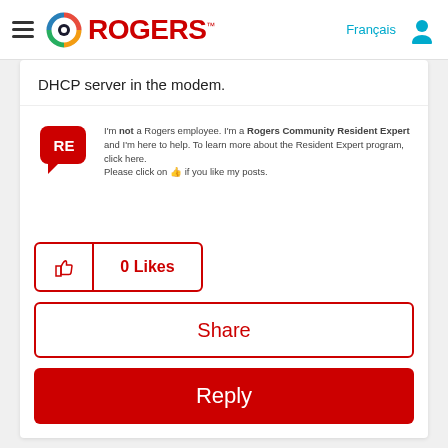Rogers — Français | User icon
DHCP server in the modem.
I'm not a Rogers employee. I'm a Rogers Community Resident Expert and I'm here to help. To learn more about the Resident Expert program, click here. Please click on 👍 if you like my posts.
0 Likes
Share
Reply